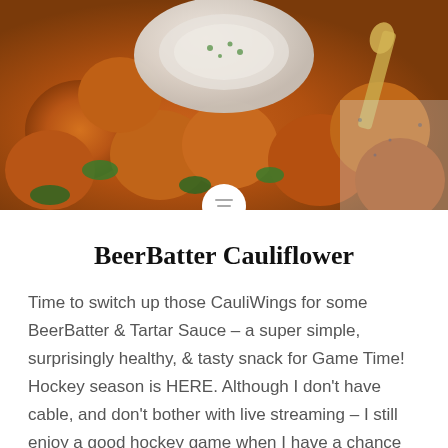[Figure (photo): Close-up photo of beer-battered cauliflower pieces with green herbs, a white bowl of tartar sauce, and decorative spoon on a blue-speckled surface]
BeerBatter Cauliflower
Time to switch up those CauliWings for some BeerBatter & Tartar Sauce – a super simple, surprisingly healthy, & tasty snack for Game Time! Hockey season is HERE. Although I don't have cable, and don't bother with live streaming – I still enjoy a good hockey game when I have a chance to watch. My...
READ MORE